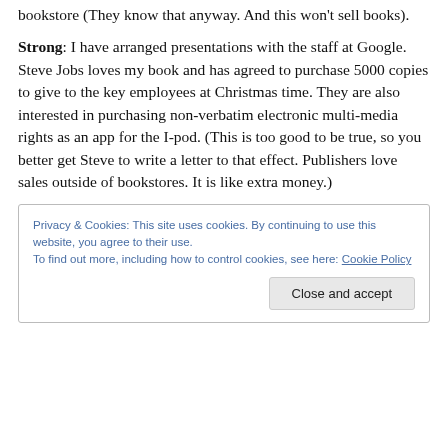bookstore (They know that anyway. And this won't sell books).
Strong: I have arranged presentations with the staff at Google. Steve Jobs loves my book and has agreed to purchase 5000 copies to give to the key employees at Christmas time. They are also interested in purchasing non-verbatim electronic multi-media rights as an app for the I-pod. (This is too good to be true, so you better get Steve to write a letter to that effect. Publishers love sales outside of bookstores. It is like extra money.)
Privacy & Cookies: This site uses cookies. By continuing to use this website, you agree to their use. To find out more, including how to control cookies, see here: Cookie Policy
Close and accept